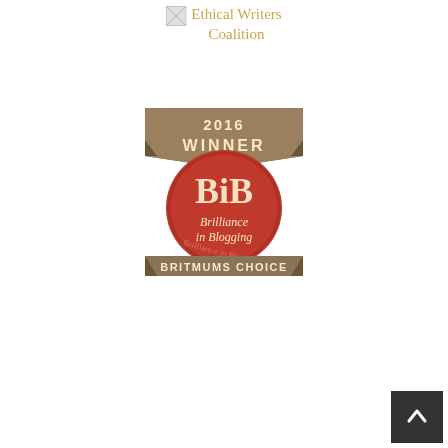[Figure (logo): Ethical Writers Coalition logo with small image icon and gold/tan text reading 'Ethical Writers Coalition']
[Figure (logo): 2016 Winner BiBs - Brilliance in Blogging - BritMums Choice award badge. Brown ribbon banner at top reading '2016 WINNER', large red circle with 'BiB' monogram and 'Brilliance in Blogging' text, brown banner at bottom reading 'BRITMUMS CHOICE'.]
[Figure (other): Dark grey scroll-to-top button with upward-pointing chevron arrow, positioned in bottom-right corner.]